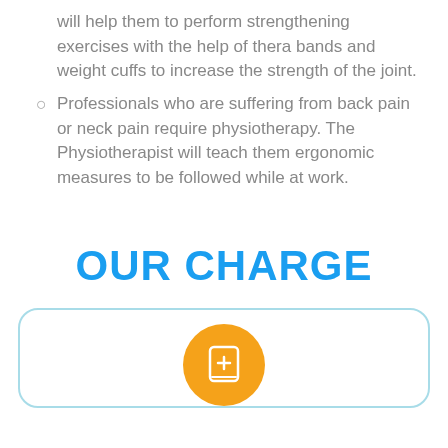will help them to perform strengthening exercises with the help of thera bands and weight cuffs to increase the strength of the joint.
Professionals who are suffering from back pain or neck pain require physiotherapy. The Physiotherapist will teach them ergonomic measures to be followed while at work.
OUR CHARGE
[Figure (illustration): Orange circle icon with a medical book/journal with a plus sign, inside a rounded rectangle card with light blue border]